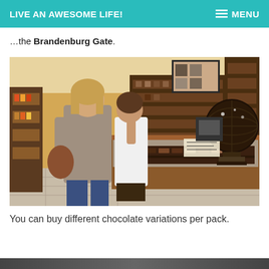LIVE AN AWESOME LIFE! | MENU
…the Brandenburg Gate.
[Figure (photo): Two women standing at a chocolate shop counter, browsing a long display case filled with various chocolates. In the background are wooden shelves stocked with products. On the right side is a large decorative chocolate globe/sphere on a stand.]
You can buy different chocolate variations per pack.